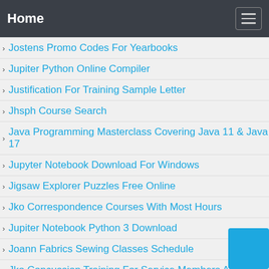Home
Jostens Promo Codes For Yearbooks
Jupiter Python Online Compiler
Justification For Training Sample Letter
Jhsph Course Search
Java Programming Masterclass Covering Java 11 & Java 17
Jupyter Notebook Download For Windows
Jigsaw Explorer Puzzles Free Online
Jko Correspondence Courses With Most Hours
Jupiter Notebook Python 3 Download
Joann Fabrics Sewing Classes Schedule
Jko Concussion Training For Service Members Answe
Jko Course Cheat Code 2021